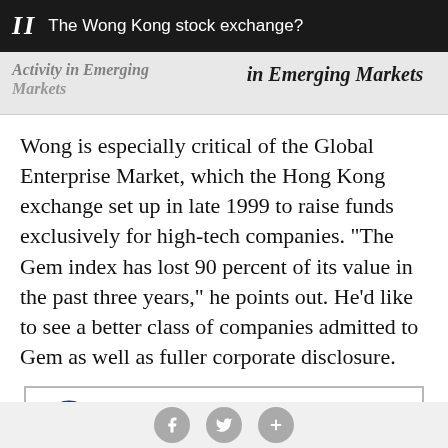II  The Wong Kong stock exchange?
in Emerging Markets
Wong is especially critical of the Global Enterprise Market, which the Hong Kong exchange set up in late 1999 to raise funds exclusively for high-tech companies. "The Gem index has lost 90 percent of its value in the past three years," he points out. He'd like to see a better class of companies admitted to Gem as well as fuller corporate disclosure.
[Figure (logo): PGIM Real Estate advertisement with logo and 'BUILDING' text]
Social sharing buttons: Facebook, Twitter, Plus